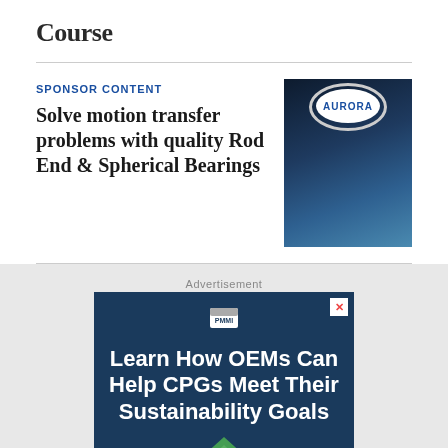Course
SPONSOR CONTENT
Solve motion transfer problems with quality Rod End & Spherical Bearings
[Figure (photo): Aurora brand image showing logo on globe/earth background]
Advertisement
[Figure (infographic): PMMI advertisement: Learn How OEMs Can Help CPGs Meet Their Sustainability Goals, with triangle graphic]